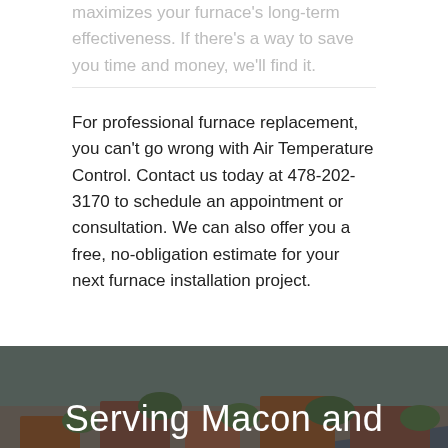maximizes your furnace's long-term effectiveness. If there's a way to save you time and money, we'll find it.
For professional furnace replacement, you can't go wrong with Air Temperature Control. Contact us today at 478-202-3170 to schedule an appointment or consultation. We can also offer you a free, no-obligation estimate for your next furnace installation project.
[Figure (photo): Aerial view of a residential neighborhood with houses and trees, used as background for a service area section]
Serving Macon and These Areas